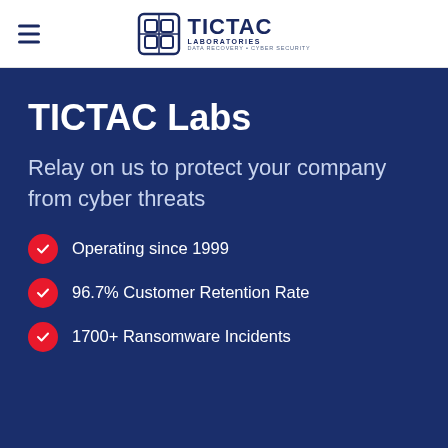TICTAC LABORATORIES DATA RECOVERY • CYBER SECURITY
TICTAC Labs
Relay on us to protect your company from cyber threats
Operating since 1999
96.7% Customer Retention Rate
1700+ Ransomware Incidents